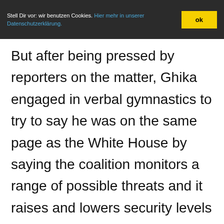Stell Dir vor: wir benutzen Cookies. Hier mehr in unserer Datenschutzerklärung. ok
But after being pressed by reporters on the matter, Ghika engaged in verbal gymnastics to try to say he was on the same page as the White House by saying the coalition monitors a range of possible threats and it raises and lowers security levels appropriately.